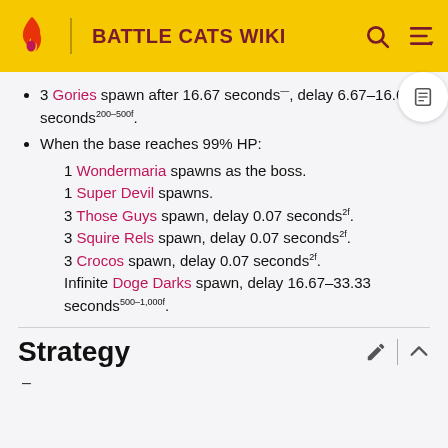BATTLE CATS WIKI
3 Gories spawn after 16.67 seconds, delay 6.67–16.67 seconds200–500f.
When the base reaches 99% HP:
1 Wondermaria spawns as the boss.
1 Super Devil spawns.
3 Those Guys spawn, delay 0.07 seconds2f.
3 Squire Rels spawn, delay 0.07 seconds2f.
3 Crocos spawn, delay 0.07 seconds2f.
Infinite Doge Darks spawn, delay 16.67–33.33 seconds500–1,000f.
Strategy
–